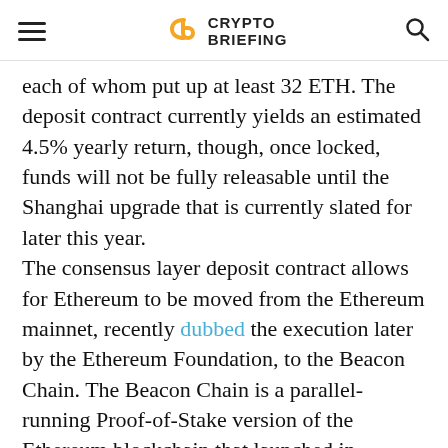Crypto Briefing
each of whom put up at least 32 ETH. The deposit contract currently yields an estimated 4.5% yearly return, though, once locked, funds will not be fully releasable until the Shanghai upgrade that is currently slated for later this year.
The consensus layer deposit contract allows for Ethereum to be moved from the Ethereum mainnet, recently dubbed the execution later by the Ethereum Foundation, to the Beacon Chain. The Beacon Chain is a parallel-running Proof-of-Stake version of the Ethereum blockchain that launched in December 2020.
The long-awaited Merge describes the